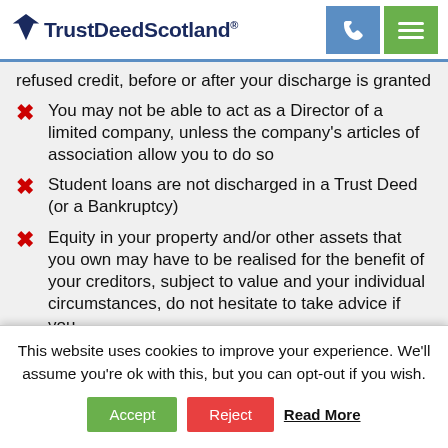TrustDeedScotland®
refused credit, before or after your discharge is granted
You may not be able to act as a Director of a limited company, unless the company's articles of association allow you to do so
Student loans are not discharged in a Trust Deed (or a Bankruptcy)
Equity in your property and/or other assets that you own may have to be realised for the benefit of your creditors, subject to value and your individual circumstances, do not hesitate to take advice if you
This website uses cookies to improve your experience. We'll assume you're ok with this, but you can opt-out if you wish.